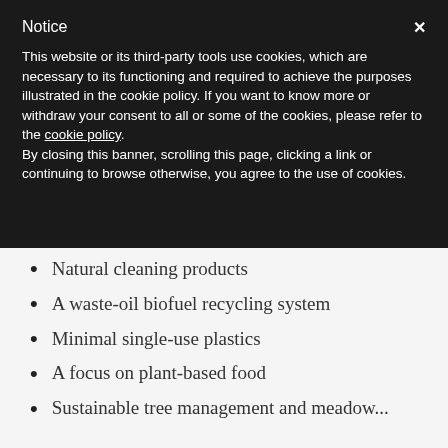Notice
This website or its third-party tools use cookies, which are necessary to its functioning and required to achieve the purposes illustrated in the cookie policy. If you want to know more or withdraw your consent to all or some of the cookies, please refer to the cookie policy.
By closing this banner, scrolling this page, clicking a link or continuing to browse otherwise, you agree to the use of cookies.
Natural cleaning products
A waste-oil biofuel recycling system
Minimal single-use plastics
A focus on plant-based food
Sustainable tree management and meadow...